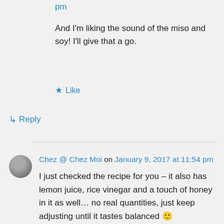pm
And I'm liking the sound of the miso and soy! I'll give that a go.
★ Like
↳ Reply
Chez @ Chez Moi on January 9, 2017 at 11:54 pm
I just checked the recipe for you – it also has lemon juice, rice vinegar and a touch of honey in it as well… no real quantities, just keep adjusting until it tastes balanced 🙂
★ Like